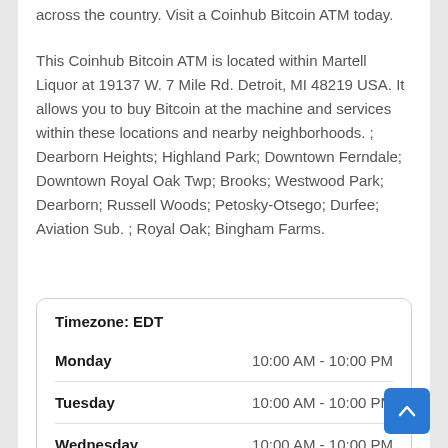across the country. Visit a Coinhub Bitcoin ATM today.
This Coinhub Bitcoin ATM is located within Martell Liquor at 19137 W. 7 Mile Rd. Detroit, MI 48219 USA. It allows you to buy Bitcoin at the machine and services within these locations and nearby neighborhoods. ; Dearborn Heights; Highland Park; Downtown Ferndale; Downtown Royal Oak Twp; Brooks; Westwood Park; Dearborn; Russell Woods; Petosky-Otsego; Durfee; Aviation Sub. ; Royal Oak; Bingham Farms.
| Day | Hours |
| --- | --- |
| Monday | 10:00 AM - 10:00 PM |
| Tuesday | 10:00 AM - 10:00 PM |
| Wednesday | 10:00 AM - 10:00 PM |